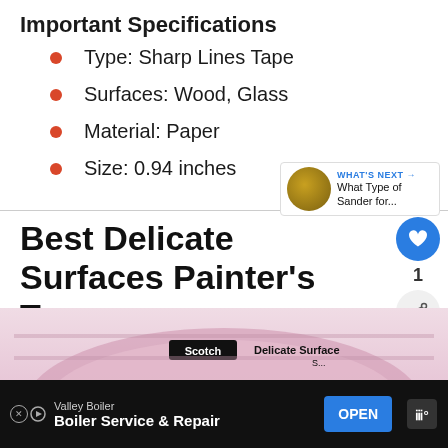Important Specifications
Type: Sharp Lines Tape
Surfaces: Wood, Glass
Material: Paper
Size: 0.94 inches
Best Delicate Surfaces Painter's Tape
[Figure (photo): Scotch Delicate Surface painter's tape product image, pink tape roll viewed from above]
WHAT'S NEXT → What Type of Sander for...